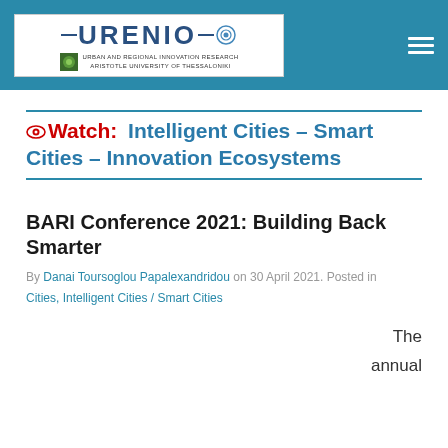URENIO — URBAN AND REGIONAL INNOVATION RESEARCH, ARISTOTLE UNIVERSITY OF THESSALONIKI
Watch: Intelligent Cities – Smart Cities – Innovation Ecosystems
BARI Conference 2021: Building Back Smarter
By Danai Toursoglou Papalexandridou on 30 April 2021. Posted in Cities, Intelligent Cities / Smart Cities
The annual